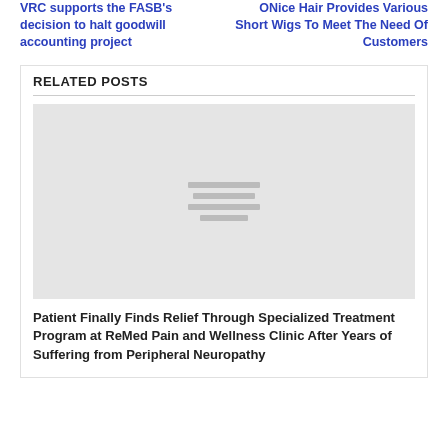VRC supports the FASB's decision to halt goodwill accounting project
ONice Hair Provides Various Short Wigs To Meet The Need Of Customers
RELATED POSTS
[Figure (illustration): Grey placeholder image with three horizontal lines in the center representing a loading/placeholder graphic]
Patient Finally Finds Relief Through Specialized Treatment Program at ReMed Pain and Wellness Clinic After Years of Suffering from Peripheral Neuropathy